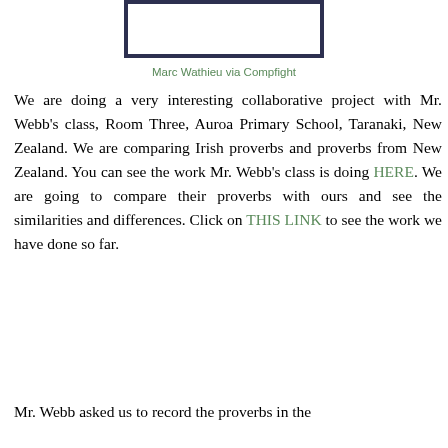[Figure (other): Rectangular bordered image placeholder with dark border]
Marc Wathieu via Compfight
We are doing a very interesting collaborative project with Mr. Webb's class, Room Three, Auroa Primary School, Taranaki, New Zealand. We are comparing Irish proverbs and proverbs from New Zealand. You can see the work Mr. Webb's class is doing HERE. We are going to compare their proverbs with ours and see the similarities and differences. Click on THIS LINK to see the work we have done so far.
Mr. Webb asked us to record the proverbs in the